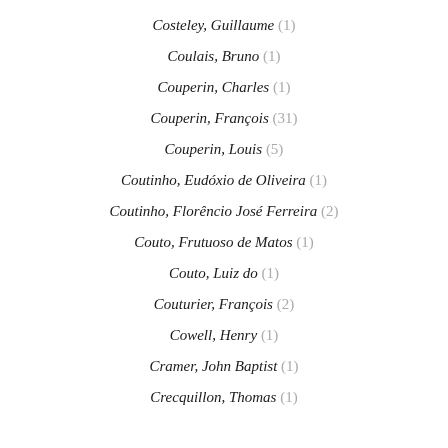Costeley, Guillaume (1)
Coulais, Bruno (1)
Couperin, Charles (1)
Couperin, François (31)
Couperin, Louis (5)
Coutinho, Eudóxio de Oliveira (1)
Coutinho, Florêncio José Ferreira (2)
Couto, Frutuoso de Matos (1)
Couto, Luiz do (1)
Couturier, François (2)
Cowell, Henry (1)
Cramer, John Baptist (1)
Crecquillon, Thomas (1)